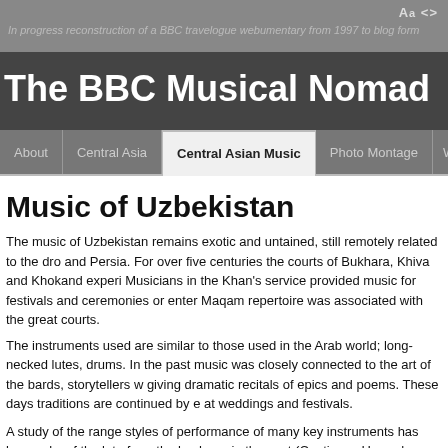Aa <> In progress reconstruction of a BBC travelogue webumentary from 1997 to blog form
The BBC Musical Nomad
About | Central Asia | Central Asian Music | Photo Montage | W
Music of Uzbekistan
The music of Uzbekistan remains exotic and untained, still remotely related to the drones of Arabia and Persia. For over five centuries the courts of Bukhara, Khiva and Khokand experienced music. Musicians in the Khan's service provided music for festivals and ceremonies or entertainment. Maqam repertoire was associated with the great courts.
The instruments used are similar to those used in the Arab world; long-necked lutes, flutes and drums. In the past music was closely connected to the art of the bards, storytellers who went from village to village giving dramatic recitals of epics and poems. These days traditions are continued by ensembles who play at weddings and festivals.
A study of the range styles of performance of many key instruments has been a key feature of the journey - the lute from the bazheng in the east (Continues Here - has a title)